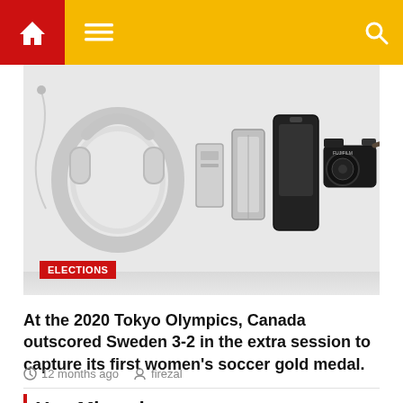Navigation bar with home, menu, and search icons
[Figure (photo): Flat lay of electronics including white headphones, a portable charger, a metal phone case/stand, a black rugged phone case, and a Fujifilm camera on a white surface]
ELECTIONS
At the 2020 Tokyo Olympics, Canada outscored Sweden 3-2 in the extra session to capture its first women's soccer gold medal.
12 months ago  firezal
You Missed